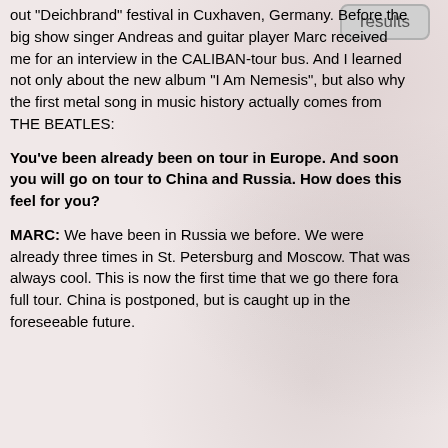[Figure (other): A button/widget labeled 'results' in the top right corner of a mobile app interface]
out "Deichbrand" festival in Cuxhaven, Germany. Before the big show singer Andreas and guitar player Marc received me for an interview in the CALIBAN-tour bus. And I learned not only about the new album "I Am Nemesis", but also why the first metal song in music history actually comes from THE BEATLES:
You've been already been on tour in Europe. And soon you will go on tour to China and Russia. How does this feel for you?
MARC: We have been in Russia we before. We were already three times in St. Petersburg and Moscow. That was always cool. This is now the first time that we go there fora full tour. China is postponed, but is caught up in the foreseeable future.